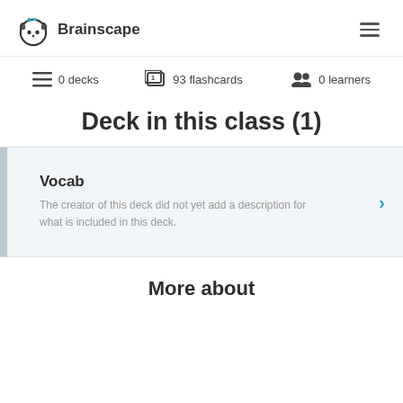Brainscape
0 decks   93 flashcards   0 learners
Deck in this class (1)
Vocab
The creator of this deck did not yet add a description for what is included in this deck.
More about